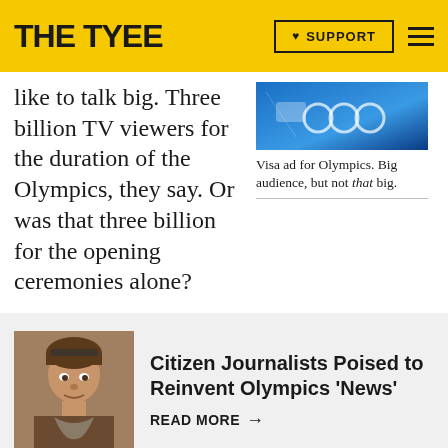THE TYEE | SUPPORT
like to talk big. Three billion TV viewers for the duration of the Olympics, they say. Or was that three billion for the opening ceremonies alone?
[Figure (photo): Visa ad for Olympics — blue-toned image with Olympic rings]
Visa ad for Olympics. Big audience, but not that big.
[Figure (photo): Headshot of a young man]
Citizen Journalists Poised to Reinvent Olympics ‘News’
READ MORE →
Both scenarios are misleading at the very least, an expert in television viewership told The Tyee Wednesday.